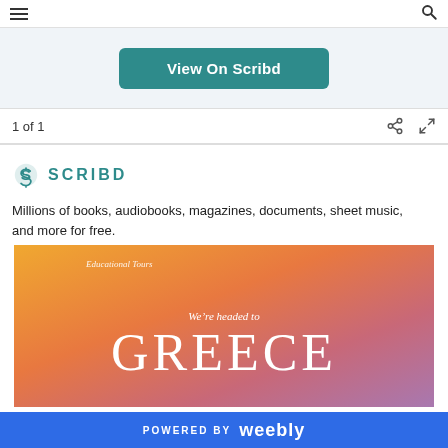≡  🔍
View On Scribd
1 of 1
[Figure (logo): Scribd logo with teal S icon and SCRIBD wordmark]
Millions of books, audiobooks, magazines, documents, sheet music, and more for free.
[Figure (photo): Colorful gradient sunset image with text 'Educational Tours', 'We're headed to', 'GREECE']
POWERED BY weebly